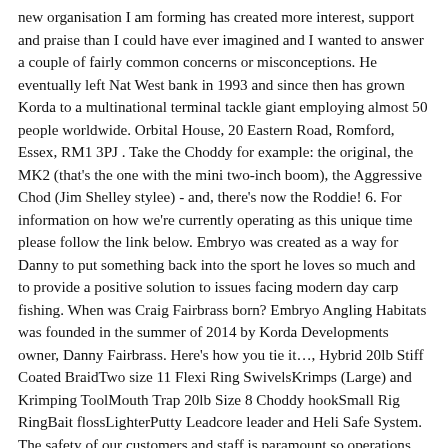new organisation I am forming has created more interest, support and praise than I could have ever imagined and I wanted to answer a couple of fairly common concerns or misconceptions. He eventually left Nat West bank in 1993 and since then has grown Korda to a multinational terminal tackle giant employing almost 50 people worldwide. Orbital House, 20 Eastern Road, Romford, Essex, RM1 3PJ . Take the Choddy for example: the original, the MK2 (that's the one with the mini two-inch boom), the Aggressive Chod (Jim Shelley stylee) - and, there's now the Roddie! 6. For information on how we're currently operating as this unique time please follow the link below. Embryo was created as a way for Danny to put something back into the sport he loves so much and to provide a positive solution to issues facing modern day carp fishing. When was Craig Fairbrass born? Embryo Angling Habitats was founded in the summer of 2014 by Korda Developments owner, Danny Fairbrass. Here's how you tie it…, Hybrid 20lb Stiff Coated BraidTwo size 11 Flexi Ring SwivelsKrimps (Large) and Krimping ToolMouth Trap 20lb Size 8 Choddy hookSmall Rig RingBait flossLighterPutty Leadcore leader and Heli Safe System. The safety of our customers and staff is paramount so operations may change at short notice. Danny Fairbrass travels North to a special Embryo Venue! You then need to repeat this at the other end of the hooklink, but make sure you crimp to the ring on the swivel this time. Tighten and then blob. Danny is without doubt one of the pioneers […] 80920 Views Session Victim - Danny's